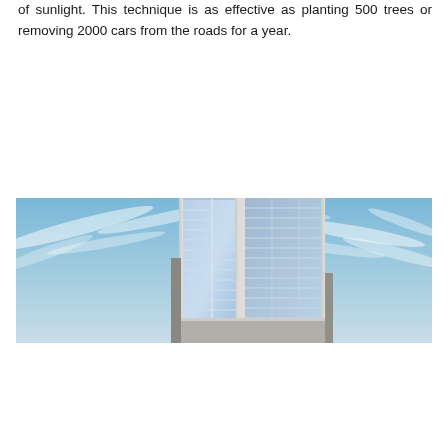of sunlight. This technique is as effective as planting 500 trees or removing 2000 cars from the roads for a year.
[Figure (photo): Photograph of a tall glass-paneled skyscraper tower seen from below against a blue sky with wispy clouds. The building has a modern curtain-wall facade with reflective blue glass panels and white framing, shown in a wide landscape-cropped image.]